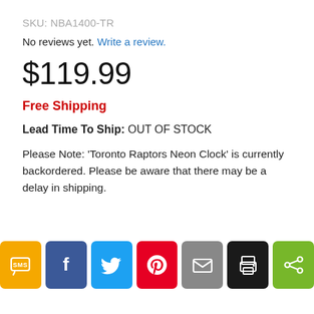SKU: NBA1400-TR
No reviews yet. Write a review.
$119.99
Free Shipping
Lead Time To Ship: OUT OF STOCK
Please Note: 'Toronto Raptors Neon Clock' is currently backordered. Please be aware that there may be a delay in shipping.
[Figure (infographic): Row of 7 social sharing buttons: SMS (yellow), Facebook (dark blue), Twitter (light blue), Pinterest (red), Email (grey), Print (black), Share (green)]